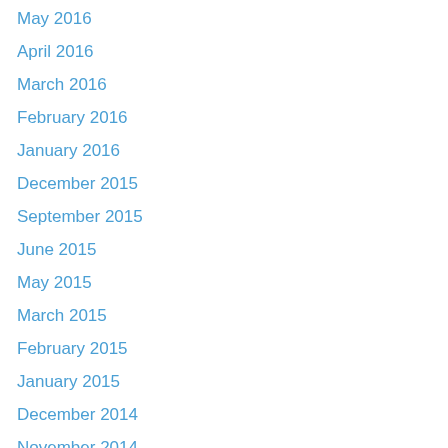May 2016
April 2016
March 2016
February 2016
January 2016
December 2015
September 2015
June 2015
May 2015
March 2015
February 2015
January 2015
December 2014
November 2014
October 2014
September 2014
August 2014
July 2014
June 2014
May 2014